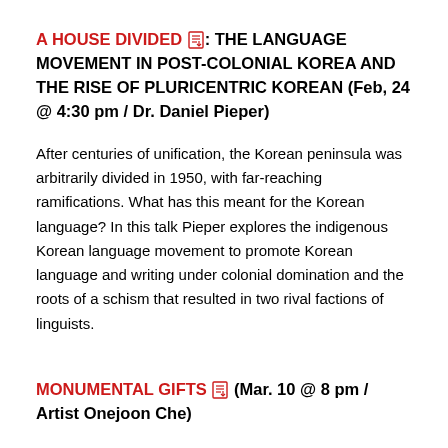A HOUSE DIVIDED [pdf icon]: THE LANGUAGE MOVEMENT IN POST-COLONIAL KOREA AND THE RISE OF PLURICENTRIC KOREAN (Feb, 24 @ 4:30 pm / Dr. Daniel Pieper)
After centuries of unification, the Korean peninsula was arbitrarily divided in 1950, with far-reaching ramifications. What has this meant for the Korean language? In this talk Pieper explores the indigenous Korean language movement to promote Korean language and writing under colonial domination and the roots of a schism that resulted in two rival factions of linguists.
MONUMENTAL GIFTS [pdf icon] (Mar. 10 @ 8 pm / Artist Onejoon Che)
The North Korea's Mansudae Art Studio has constructed statues, monuments, and buildings in 18 countries in